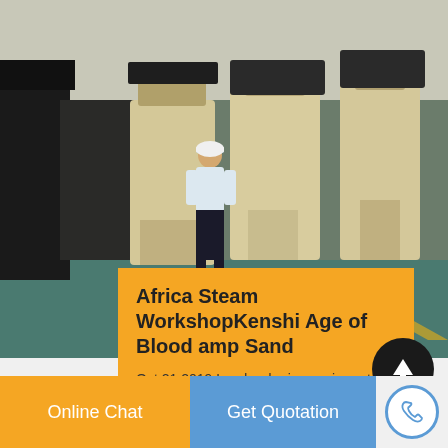[Figure (photo): Industrial machinery factory floor showing large cone crusher or similar mining equipment in cream/beige color arranged in a row, with a man in white shirt and white hard hat standing among the machines on a teal/green floor]
Africa Steam WorkshopKenshi Age of Blood amp Sand
Oct 21 2019 Load order is very important use it to avoid problems Renew it every collection update Recent update for Info on recent…
Online Chat
Get Quotation